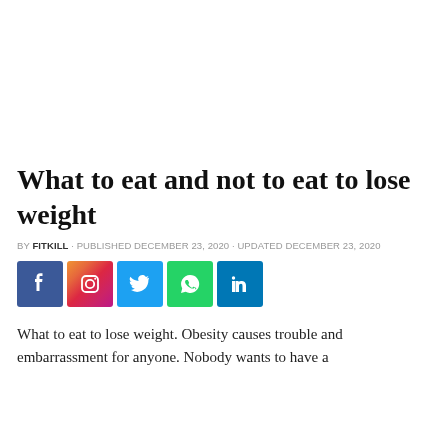What to eat and not to eat to lose weight
BY FITKILL · PUBLISHED DECEMBER 23, 2020 · UPDATED DECEMBER 23, 2020
[Figure (other): Row of social media share icons: Facebook (blue), Instagram (gradient), Twitter (light blue), WhatsApp (green), LinkedIn (blue)]
What to eat to lose weight. Obesity causes trouble and embarrassment for anyone. Nobody wants to have a